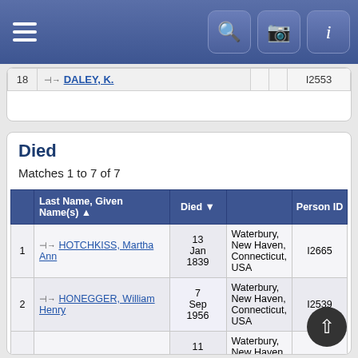Navigation bar with menu, search, camera, and info icons
| # | Last Name, Given Name(s) | Died | Person ID |
| --- | --- | --- | --- |
| 18 | DALEY, K. |  | I2553 |
Died
Matches 1 to 7 of 7
| # | Last Name, Given Name(s) ▲ | Died ▼ |  | Person ID |
| --- | --- | --- | --- | --- |
| 1 | HOTCHKISS, Martha Ann | 13 Jan 1839 | Waterbury, New Haven, Connecticut, USA | I2665 |
| 2 | HONEGGER, William Henry | 7 Sep 1956 | Waterbury, New Haven, Connecticut, USA | I2539 |
| 3 | WEDGE, Alice Maria | 11 Oct 1957 | Waterbury, New Haven, Connecticut, USA | I2511 |
| 4 | WHEELER, Frank H. | Mar 1969 | Waterbury, New Haven, Connecticut, | I2535 |